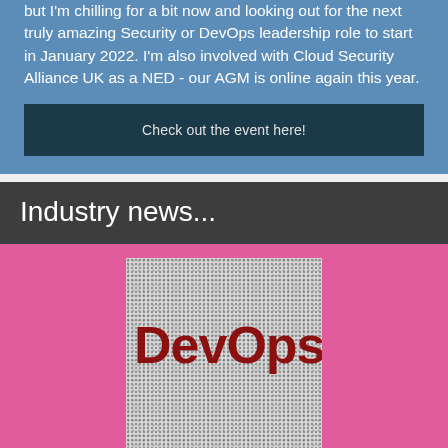but I'm chilling for a bit now and looking out for the next truly amazing Security or DevOps leadership role to start in January 2022. I'm also involved with Cloud Security Alliance UK as a NED - our AGM is online again this year.
Check out the event here!
Industry news...
[Figure (photo): DevOps text displayed on a dot-matrix / halftone grid screen, letters in dark red on a black and white grid background]
Too much Ops, not enough Dev—how to fix Dev...